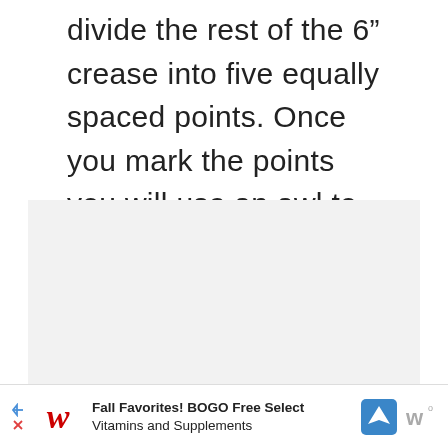divide the rest of the 6" crease into five equally spaced points. Once you mark the points you will use an awl to poke holes through them.
[Figure (other): Light gray rectangular placeholder image area]
Fall Favorites! BOGO Free Select Vitamins and Supplements